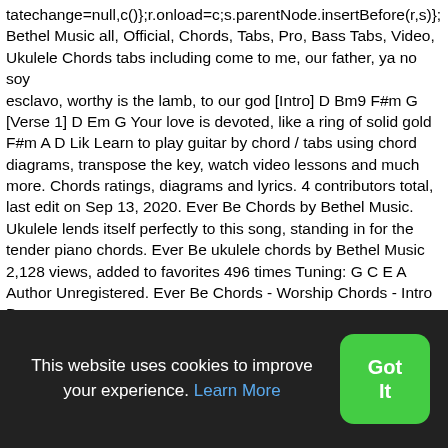tatechange=null,c()};r.onload=c;s.parentNode.insertBefore(r,s)}; Bethel Music all, Official, Chords, Tabs, Pro, Bass Tabs, Video, Ukulele Chords tabs including come to me, our father, ya no soy esclavo, worthy is the lamb, to our god [Intro] D Bm9 F#m G [Verse 1] D Em G Your love is devoted, like a ring of solid gold F#m A D Lik Learn to play guitar by chord / tabs using chord diagrams, transpose the key, watch video lessons and much more. Chords ratings, diagrams and lyrics. 4 contributors total, last edit on Sep 13, 2020. Ever Be Chords by Bethel Music. Ukulele lends itself perfectly to this song, standing in for the tender piano chords. Ever Be ukulele chords by Bethel Music 2,128 views, added to favorites 496 times Tuning: G C E A Author Unregistered. Ever Be Chords - Worship Chords - Intro D Bm9 F#m Gmaj7 D Bm9 F#m Gmaj7 Verse 1 D Em G Your love
This website uses cookies to improve your experience. Learn More
Got It